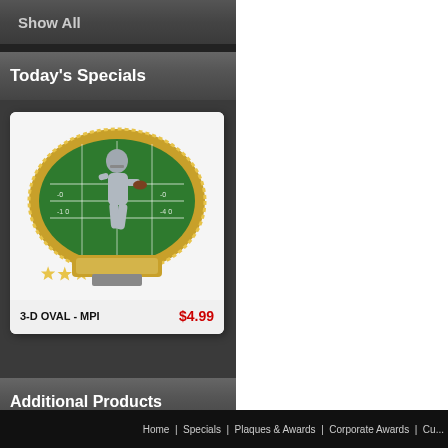Show All
Today's Specials
[Figure (photo): 3-D oval football trophy/plaque with silver football player figure on green field background with gold stars and name plate]
3-D OVAL - MPI   $4.99
Additional Products
Home | Specials | Plaques & Awards | Corporate Awards | Cu...